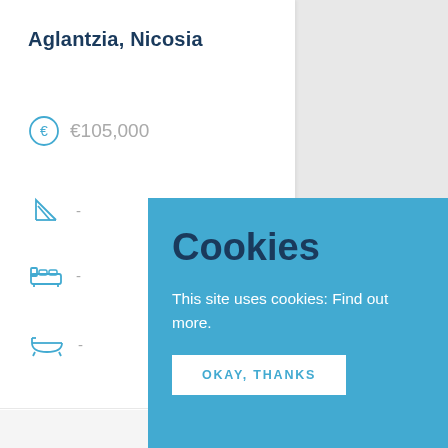Aglantzia, Nicosia
€105,000
-
-
-
Cookies
This site uses cookies: Find out more.
OKAY, THANKS